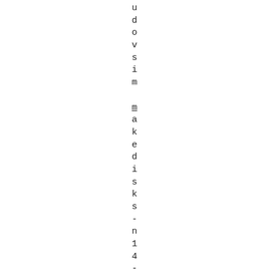udovsim_makedisks-n14-t36-a2 su